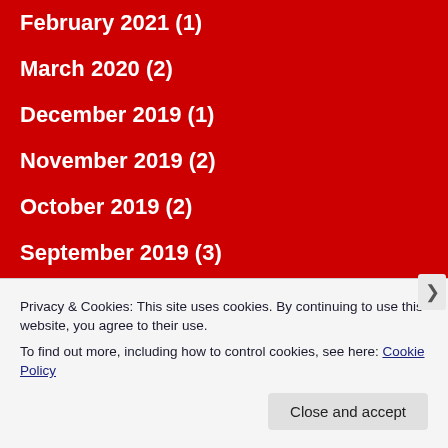February 2021 (1)
March 2020 (2)
December 2019 (1)
November 2019 (2)
October 2019 (2)
September 2019 (3)
August 2019 (1)
July 2019 (2)
June 2019 (5)
April 2019 (2)
Privacy & Cookies: This site uses cookies. By continuing to use this website, you agree to their use.
To find out more, including how to control cookies, see here: Cookie Policy
Close and accept